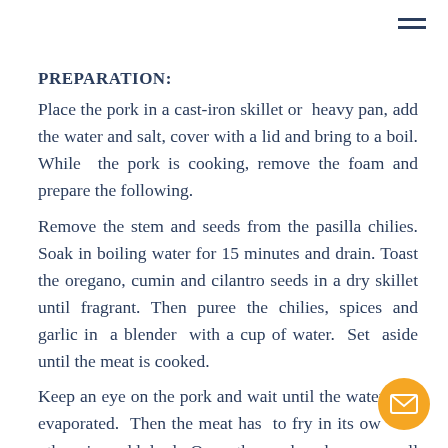PREPARATION:
Place the pork in a cast-iron skillet or heavy pan, add the water and salt, cover with a lid and bring to a boil. While the pork is cooking, remove the foam and prepare the following.
Remove the stem and seeds from the pasilla chilies. Soak in boiling water for 15 minutes and drain. Toast the oregano, cumin and cilantro seeds in a dry skillet until fragrant. Then puree the chilies, spices and garlic in a blender with a cup of water. Set aside until the meat is cooked.
Keep an eye on the pork and wait until the water has evaporated. Then the meat has to fry in its own fat, otherwise add lard. Once the pork cubes are well fried,